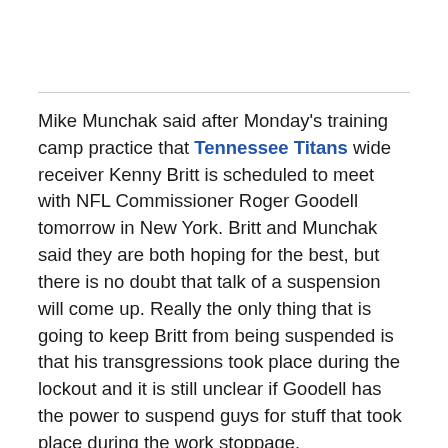Mike Munchak said after Monday's training camp practice that Tennessee Titans wide receiver Kenny Britt is scheduled to meet with NFL Commissioner Roger Goodell tomorrow in New York. Britt and Munchak said they are both hoping for the best, but there is no doubt that talk of a suspension will come up. Really the only thing that is going to keep Britt from being suspended is that his transgressions took place during the lockout and it is still unclear if Goodell has the power to suspend guys for stuff that took place during the work stoppage.
With it looking more and more likely that Chris Johnson isn't going to be here anytime soon, it is more